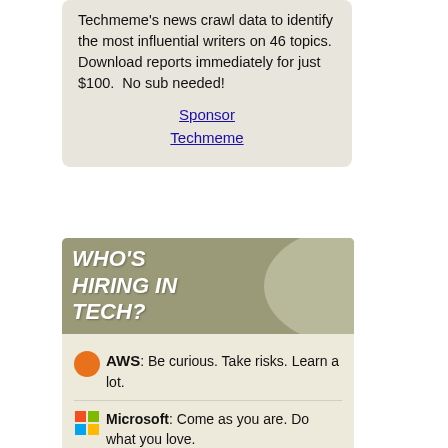Techmeme's news crawl data to identify the most influential writers on 46 topics. Download reports immediately for just $100. No sub needed!
Sponsor Techmeme
[Figure (infographic): WHO'S HIRING IN TECH? banner with olive/tan background]
AWS: Be curious. Take risks. Learn a lot.
Microsoft: Come as you are. Do what you love.
SingleStore: